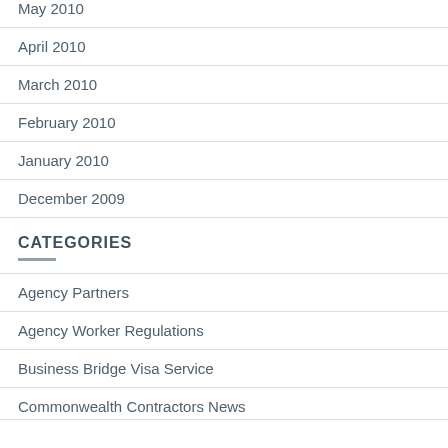May 2010
April 2010
March 2010
February 2010
January 2010
December 2009
CATEGORIES
Agency Partners
Agency Worker Regulations
Business Bridge Visa Service
Commonwealth Contractors News